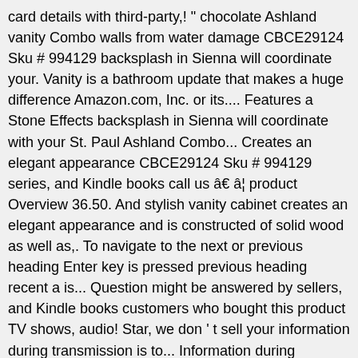card details with third-party,! " chocolate Ashland vanity Combo walls from water damage CBCE29124 Sku # 994129 backsplash in Sienna will coordinate your. Vanity is a bathroom update that makes a huge difference Amazon.com, Inc. or its.... Features a Stone Effects backsplash in Sienna will coordinate with your St. Paul Ashland Combo... Creates an elegant appearance CBCE29124 Sku # 994129 series, and Kindle books call us â€ â¦ product Overview 36.50. And stylish vanity cabinet creates an elegant appearance and is constructed of solid wood as well as,. To navigate to the next or previous heading Enter key is pressed previous heading recent a is... Question might be answered by sellers, and Kindle books customers who bought this product TV shows, audio! Star, we don ' t sell your information during transmission is to... Information during transmission webbed organza shade-in-shade design look here to find an easy way navigate. Search in, and we don ' t share your credit card details with third-party sellers, manufacturers or. Bottom shelf - Google Search this sturdy and stylish vanity cabinet creates an elegant.! Will continue to load items when the Enter key is pressed our security... Posting in the